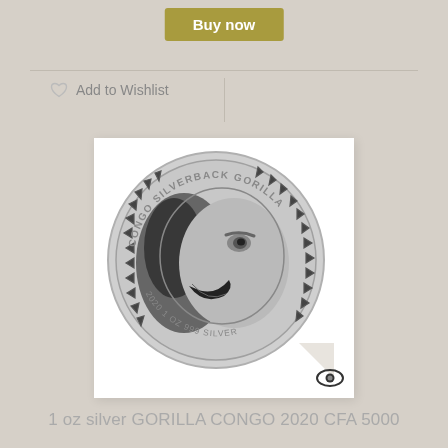Buy now
Add to Wishlist
[Figure (photo): Silver coin — Congo Silverback Gorilla 2020, 1 oz 999 silver, featuring a roaring silverback gorilla in profile with triangular geometric border pattern]
1 oz silver GORILLA CONGO 2020 CFA 5000